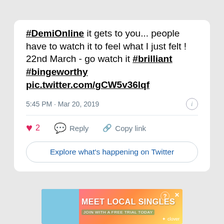#DemiOnline it gets to you... people have to watch it to feel what I just felt ! 22nd March - go watch it #brilliant #bingeworthy pic.twitter.com/gCW5v36lqf
5:45 PM · Mar 20, 2019
2  Reply  Copy link
Explore what's happening on Twitter
[Figure (screenshot): Advertisement banner: MEET LOCAL SINGLES with JOIN WITH A FREE TRIAL TODAY, clover branding, colorful gradient background]